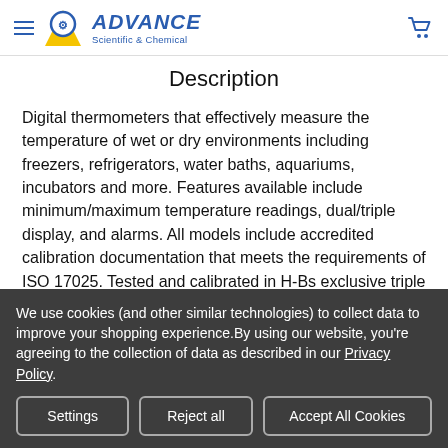Advance Scientific & Chemical
Description
Digital thermometers that effectively measure the temperature of wet or dry environments including freezers, refrigerators, water baths, aquariums, incubators and more. Features available include minimum/maximum temperature readings, dual/triple display, and alarms. All models include accredited calibration documentation that meets the requirements of ISO 17025. Tested and calibrated in H-Bs exclusive triple accredited/registered
We use cookies (and other similar technologies) to collect data to improve your shopping experience.By using our website, you're agreeing to the collection of data as described in our Privacy Policy.
Settings | Reject all | Accept All Cookies